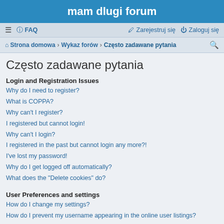mam dlugi forum
≡  FAQ    Zarejestruj się   Zaloguj się
Strona domowa · Wykaz forów · Często zadawane pytania
Często zadawane pytania
Login and Registration Issues
Why do I need to register?
What is COPPA?
Why can't I register?
I registered but cannot login!
Why can't I login?
I registered in the past but cannot login any more?!
I've lost my password!
Why do I get logged off automatically?
What does the "Delete cookies" do?
User Preferences and settings
How do I change my settings?
How do I prevent my username appearing in the online user listings?
The times are not correct!
I changed the timezone and the time is still wrong!
My language is not in the list!
What are the images next to my username?